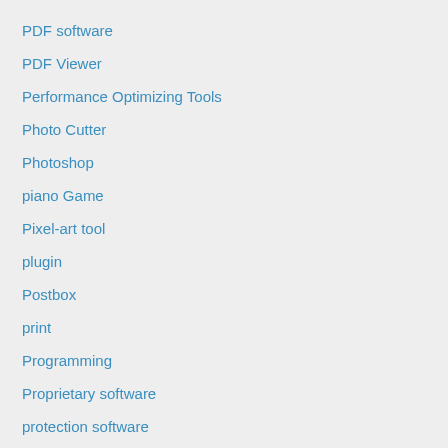PDF software
PDF Viewer
Performance Optimizing Tools
Photo Cutter
Photoshop
piano Game
Pixel-art tool
plugin
Postbox
print
Programming
Proprietary software
protection software
Protector
recasting